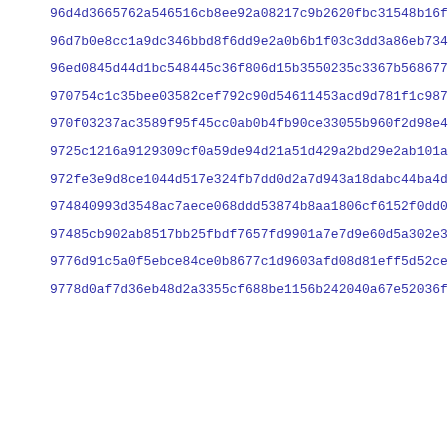96d4d3665762a546516cb8ee92a08217c9b2620fbc31548b16f54cabbe497
96d7b0e8cc1a9dc346bbd8f6dd9e2a0b6b1f03c3dd3a86eb73433322bcd25
96ed0845d44d1bc548445c36f806d15b3550235c3367b5686778655 40d66e
970754c1c35bee03582cef792c90d54611453acd9d781f1c987c5c0166cb7
970f03237ac3589f95f45cc0ab0b4fb90ce33055b960f2d98e4665ffcf670
9725c1216a9129309cf0a59de94d21a51d429a2bd29e2ab101a693a5f464f
972fe3e9d8ce1044d517e324fb7dd0d2a7d943a18dabc44ba4d27400e81f9
974840993d3548ac7aece068ddd53874b8aa1806cf6152f0dd0056cad7b96
97485cb902ab8517bb25fbdf7657fd9901a7e7d9e60d5a302e343a4303c43
9776d91c5a0f5ebce84ce0b8677c1d9603afd08d81eff5d52ce6316ad173c
9778d0af7d36eb48d2a3355cf688be1156b242040a67e52036fd703b24793